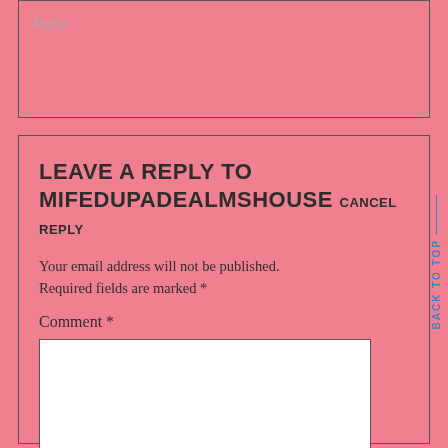Reply
LEAVE A REPLY TO MIFEDUPADEALMSHOUSE CANCEL REPLY
Your email address will not be published. Required fields are marked *
Comment *